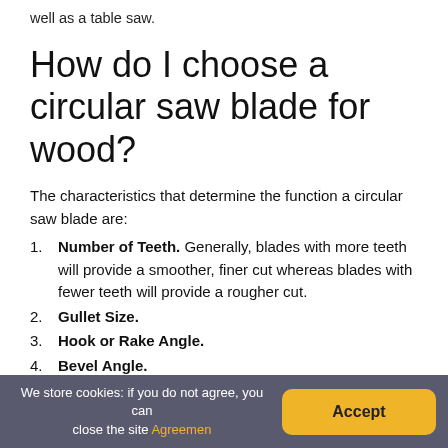well as a table saw.
How do I choose a circular saw blade for wood?
The characteristics that determine the function a circular saw blade are:
Number of Teeth. Generally, blades with more teeth will provide a smoother, finer cut whereas blades with fewer teeth will provide a rougher cut.
Gullet Size.
Hook or Rake Angle.
Bevel Angle.
Kerf.
We store cookies: if you do not agree, you can close the site Agreemen  Accept